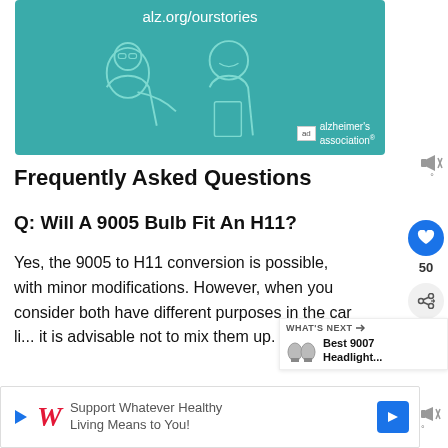[Figure (illustration): Alzheimer's Association advertisement banner with teal background showing two illustrated people (an elderly person and a younger person), URL alz.org/ourstories, and Alzheimer's Association logo with 'ad' label]
Frequently Asked Questions
Q: Will A 9005 Bulb Fit An H11?
Yes, the 9005 to H11 conversion is possible, with minor modifications. However, when you consider both have different purposes in the car li... it is advisable not to mix them up.
[Figure (infographic): WHAT'S NEXT panel showing Best 9007 Headlight... with headlight bulb icon]
[Figure (illustration): Walgreens advertisement: Support Whatever Healthy Living Means to You! with Walgreens logo and blue arrow icon]